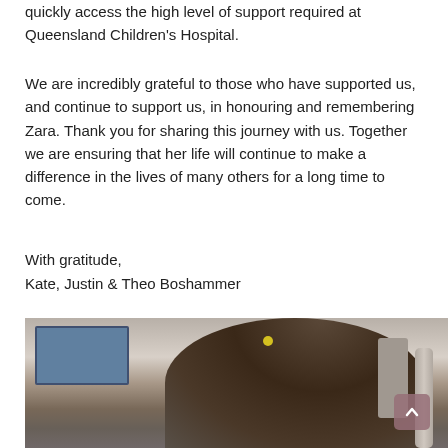quickly access the high level of support required at Queensland Children's Hospital.
We are incredibly grateful to those who have supported us, and continue to support us, in honouring and remembering Zara. Thank you for sharing this journey with us. Together we are ensuring that her life will continue to make a difference in the lives of many others for a long time to come.
With gratitude,
Kate, Justin & Theo Boshammer
P. 0418 528 432
E. kate@zarasday.com.au
[Figure (photo): A child with long dark hair seen from behind, with medical equipment visible. A yellow clip is in their hair. A window and hospital equipment are visible in the background.]